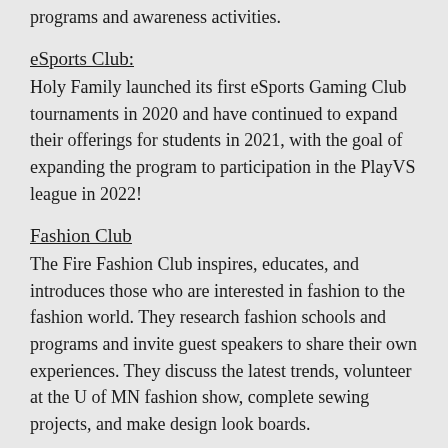programs and awareness activities.
eSports Club:
Holy Family launched its first eSports Gaming Club tournaments in 2020 and have continued to expand their offerings for students in 2021, with the goal of expanding the program to participation in the PlayVS league in 2022!
Fashion Club
The Fire Fashion Club inspires, educates, and introduces those who are interested in fashion to the fashion world. They research fashion schools and programs and invite guest speakers to share their own experiences. They discuss the latest trends, volunteer at the U of MN fashion show, complete sewing projects, and make design look boards.
Fine For Life...